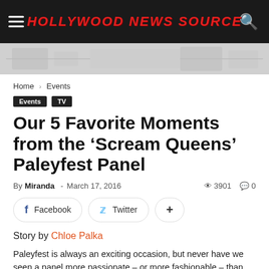HOLLYWOOD NEWS SOURCE
Home › Events
Events  TV
Our 5 Favorite Moments from the 'Scream Queens' Paleyfest Panel
By Miranda - March 17, 2016  3901  0
Facebook  Twitter  +
Story by Chloe Palka
Paleyfest is always an exciting occasion, but never have we seen a panel more passionate – or more fashionable – than